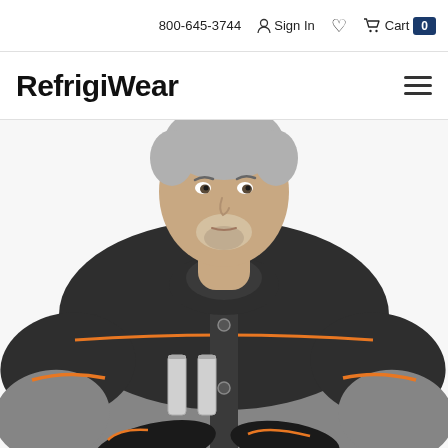800-645-3744  Sign In  Cart 0
[Figure (logo): RefrigiWear logo in bold script font]
[Figure (photo): Male model wearing a grey and black RefrigiWear insulated work jacket with orange accent piping and reflective zipper pockets, also wearing black work gloves]